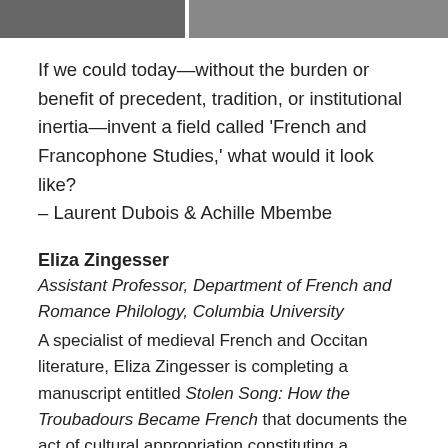[Figure (photo): Partial photo strip at top of page showing cropped images of people]
If we could today—without the burden or benefit of precedent, tradition, or institutional inertia—invent a field called 'French and Francophone Studies,' what would it look like?
– Laurent Dubois & Achille Mbembe
Eliza Zingesser
Assistant Professor, Department of French and Romance Philology, Columbia University
A specialist of medieval French and Occitan literature, Eliza Zingesser is completing a manuscript entitled Stolen Song: How the Troubadours Became French that documents the act of cultural appropriation constituting a